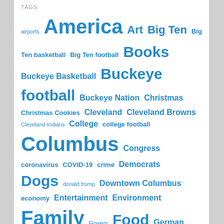TAGS
airports America Art Big Ten Big Ten basketball Big Ten football Books Buckeye Basketball Buckeye football Buckeye Nation Christmas Christmas Cookies Cleveland Cleveland Browns Cleveland Indians College college football Columbus Congress coronavirus COVID-19 crime Democrats Dogs donald trump Downtown Columbus economy Entertainment Environment Family Flowers Food German Village Growing Up Health Holidays Hotels house and grounds Humor Kasey Maine Michigan Mitt Romney modern culture Movies Music New Albany ... NFL Ohio